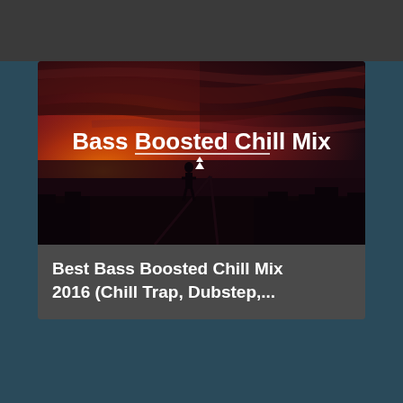[Figure (photo): Video thumbnail showing a dramatic red/dark sky with clouds and a silhouetted figure standing on elevated ground overlooking a city skyline. White text overlay reads 'Bass Boosted Chill Mix' with a decorative underline and downward arrow element.]
Best Bass Boosted Chill Mix 2016 (Chill Trap, Dubstep,...